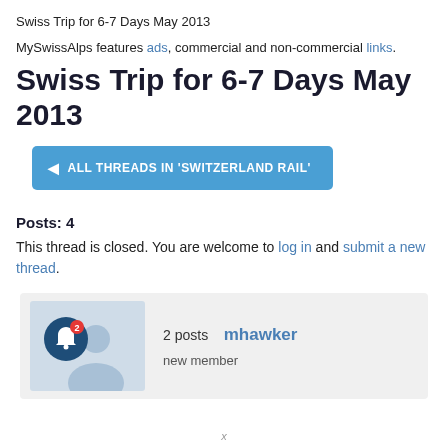Swiss Trip for 6-7 Days May 2013
MySwissAlps features ads, commercial and non-commercial links.
Swiss Trip for 6-7 Days May 2013
◄ ALL THREADS IN 'SWITZERLAND RAIL'
Posts: 4
This thread is closed. You are welcome to log in and submit a new thread.
[Figure (other): User avatar card showing a bell notification icon with badge number 2, a silhouette avatar, 2 posts count, username mhawker, and role new member]